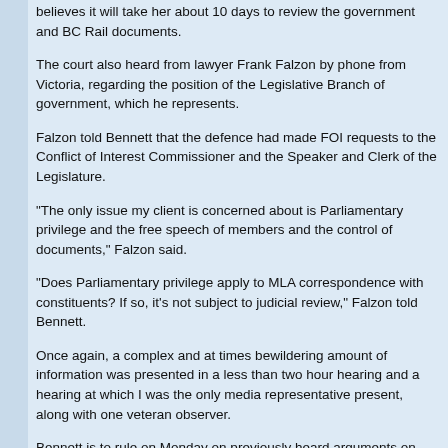believes it will take her about 10 days to review the government and BC Rail documents.
The court also heard from lawyer Frank Falzon by phone from Victoria, regarding the position of the Legislative Branch of government, which he represents.
Falzon told Bennett that the defence had made FOI requests to the Conflict of Interest Commissioner and the Speaker and Clerk of the Legislature.
"The only issue my client is concerned about is Parliamentary privilege and the free speech of members and the control of documents," Falzon said.
"Does Parliamentary privilege apply to MLA correspondence with constituents? If so, it's not subject to judicial review," Falzon told Bennett.
Once again, a complex and at times bewildering amount of information was presented in a less than two hour hearing, and a hearing at which I was the only media representative present, along with one veteran observer.
Bennett is to rule on Monday on previously heard arguments on "litigation privilege" that affects up to 300 documents.